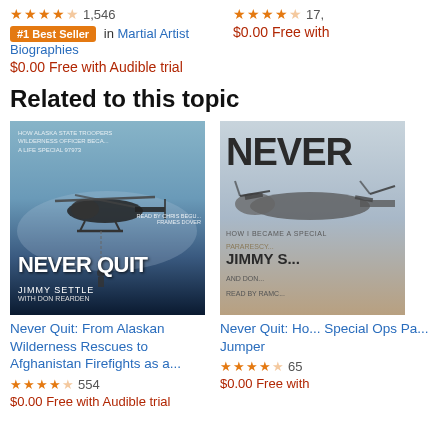★★★★☆ 1,546
#1 Best Seller in Martial Artist Biographies
$0.00 Free with Audible trial
★★★★☆ 17,...
$0.00 Free with...
Related to this topic
[Figure (photo): Book cover: Never Quit by Jimmy Settle with Don Rearden - audiobook cover showing helicopter rescue scene]
[Figure (photo): Book cover: Never Quit - How I Became a Special Ops Pararescue Jumper by Jimmy Settle and Don, read by Ramc - showing military aircraft]
Never Quit: From Alaskan Wilderness Rescues to Afghanistan Firefights as a...
★★★★☆ 554
$0.00 Free with Audible trial
Never Quit: Ho... Special Ops Pa... Jumper
★★★★☆ 65
$0.00 Free with...